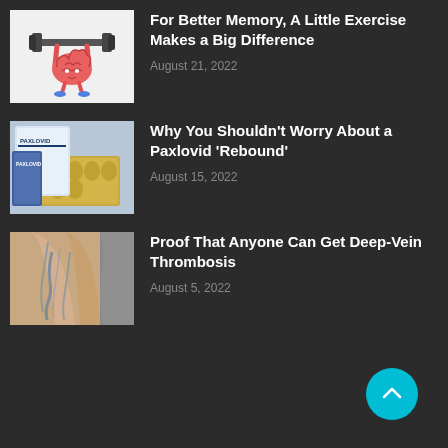[Figure (illustration): Cartoon brain character lifting a barbell with weights]
For Better Memory, A Little Exercise Makes a Big Difference
August 21, 2022
[Figure (photo): Photo of Paxlovid pill packages and blister packs]
Why You Shouldn't Worry About a Paxlovid 'Rebound'
August 15, 2022
[Figure (photo): Photo of a person's leg showing veins]
Proof That Anyone Can Get Deep-Vein Thrombosis
August 5, 2022